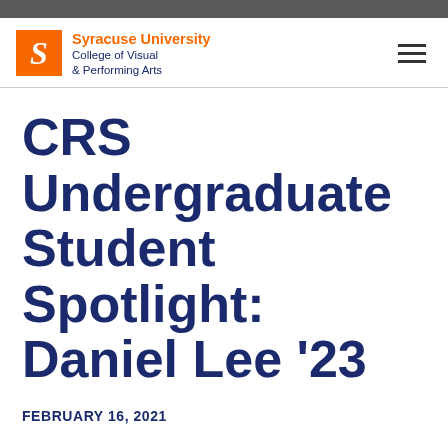Syracuse University College of Visual & Performing Arts
CRS Undergraduate Student Spotlight: Daniel Lee '23
FEBRUARY 16, 2021